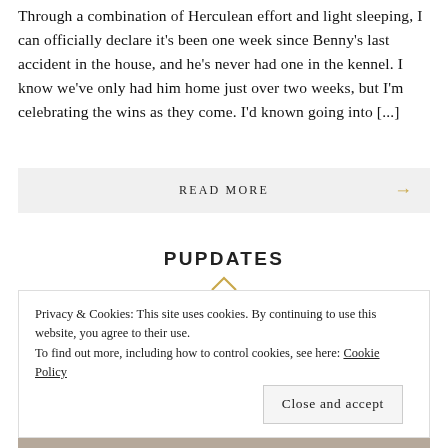Through a combination of Herculean effort and light sleeping, I can officially declare it's been one week since Benny's last accident in the house, and he's never had one in the kennel. I know we've only had him home just over two weeks, but I'm celebrating the wins as they come. I'd known going into [...]
READ MORE →
PUPDATES
Privacy & Cookies: This site uses cookies. By continuing to use this website, you agree to their use.
To find out more, including how to control cookies, see here: Cookie Policy
Close and accept
[Figure (photo): Partial view of a photo strip at the bottom, showing a light brown/tan animal (likely a dog), cropped at bottom of page.]